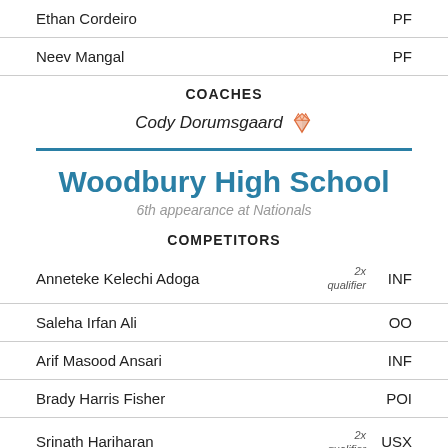Ethan Cordeiro  PF
Neev Mangal  PF
COACHES
Cody Dorumsgaard
Woodbury High School
6th appearance at Nationals
COMPETITORS
Anneteke Kelechi Adoga  2x qualifier  INF
Saleha Irfan Ali  OO
Arif Masood Ansari  INF
Brady Harris Fisher  POI
Srinath Hariharan  2x qualifier  USX
Maria Kolb  2x qualifier  INF